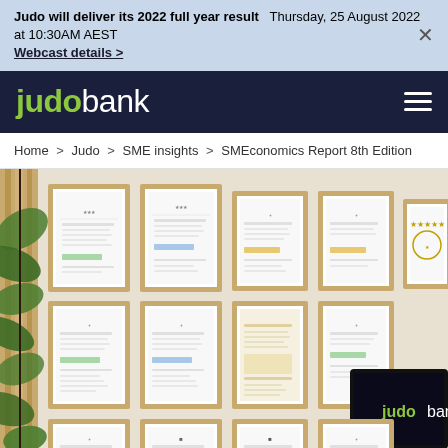Judo will deliver its 2022 full year result  Thursday, 25 August 2022 at 10:30AM AEST  Webcast details >
[Figure (logo): Judo Bank logo in white and green on dark navy background with hamburger menu icon]
Home > Judo > SME insights > SMEconomics Report 8th Edition
[Figure (photo): Interior office wall displaying multiple framed certificates/awards in wooden frames, with a green plant on the left. A TV screen showing the Judo Bank logo is visible on the bottom right.]